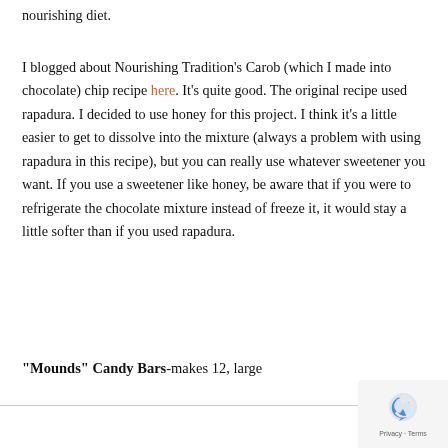nourishing diet.
I blogged about Nourishing Tradition's Carob (which I made into chocolate) chip recipe here. It's quite good. The original recipe used rapadura. I decided to use honey for this project. I think it's a little easier to get to dissolve into the mixture (always a problem with using rapadura in this recipe), but you can really use whatever sweetener you want. If you use a sweetener like honey, be aware that if you were to refrigerate the chocolate mixture instead of freeze it, it would stay a little softer than if you used rapadura.
"Mounds" Candy Bars-makes 12, large